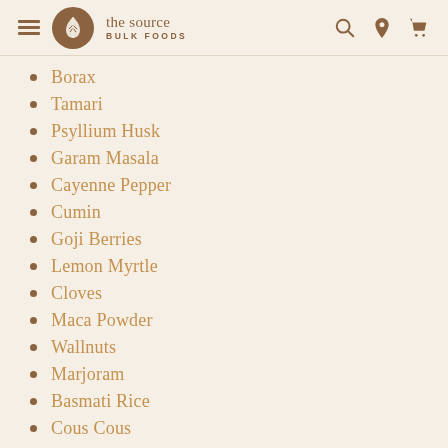The Source Bulk Foods — navigation header with hamburger menu, logo, search, location, and cart icons
Borax
Tamari
Psyllium Husk
Garam Masala
Cayenne Pepper
Cumin
Goji Berries
Lemon Myrtle
Cloves
Maca Powder
Wallnuts
Marjoram
Basmati Rice
Cous Cous
Rooibos Tea